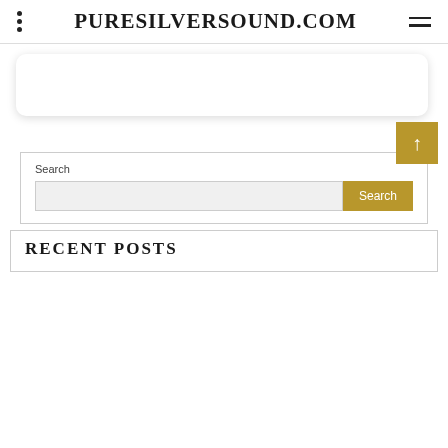PURESILVERSOUND.COM
[Figure (screenshot): White rounded rectangle card/image placeholder with drop shadow]
Search
[Figure (screenshot): Search widget with text input field and gold Search button, plus gold back-to-top arrow button]
RECENT POSTS